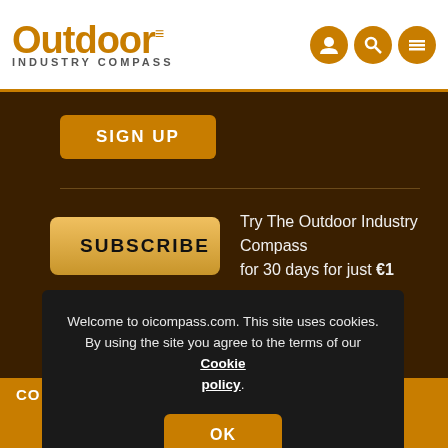[Figure (logo): Outdoor Industry Compass logo with navigation icons (user, search, menu)]
SIGN UP
SUBSCRIBE
Try The Outdoor Industry Compass for 30 days for just €1
Welcome to oicompass.com. This site uses cookies. By using the site you agree to the terms of our Cookie policy.
OK